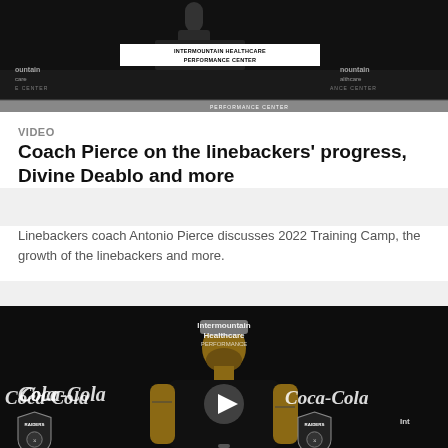[Figure (photo): Person at podium in front of Intermountain Healthcare Performance Center banner, dark background with Raiders branding]
VIDEO
Coach Pierce on the linebackers' progress, Divine Deablo and more
Linebackers coach Antonio Pierce discusses 2022 Training Camp, the growth of the linebackers and more.
[Figure (screenshot): Video thumbnail of a bearded man in Raiders hat and black shirt at press conference podium, Coca-Cola and Intermountain Healthcare branding visible, play button overlay]